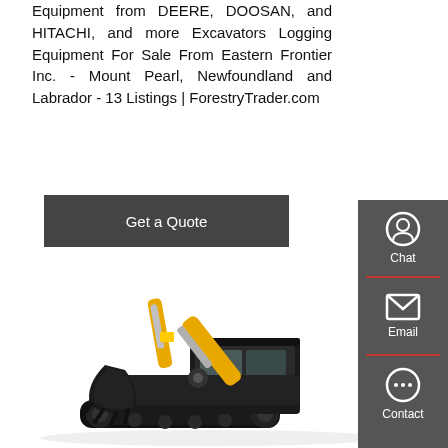Equipment from DEERE, DOOSAN, and HITACHI, and more Excavators Logging Equipment For Sale From Eastern Frontier Inc. - Mount Pearl, Newfoundland and Labrador - 13 Listings | ForestryTrader.com
Get a Quote
[Figure (photo): Yellow and black mini excavator on white background]
[Figure (infographic): Sidebar with Chat, Email, and Contact icons on dark grey background]